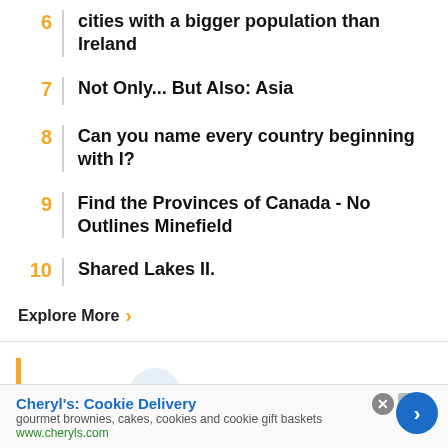6 | cities with a bigger population than Ireland
7 | Not Only... But Also: Asia
8 | Can you name every country beginning with I?
9 | Find the Provinces of Canada - No Outlines Minefield
10 | Shared Lakes II.
Explore More ›
More By: Cortez
[Figure (infographic): Advertisement for Cheryl's Cookie Delivery with close button and navigation arrow. Text: Cheryl's: Cookie Delivery, gourmet brownies, cakes, cookies and cookie gift baskets, www.cheryls.com]